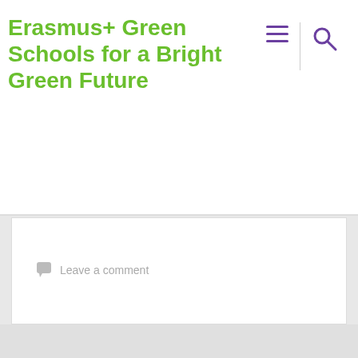Erasmus+ Green Schools for a Bright Green Future
[Figure (screenshot): Empty white content area with a Leave a comment link at the bottom left]
Leave a comment